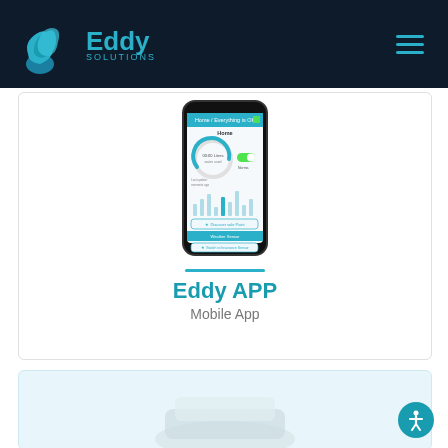Eddy Solutions
[Figure (screenshot): Mobile phone mockup showing the Eddy app home screen with usage gauge, bar chart, and action buttons]
Eddy APP
Mobile App
[Figure (photo): Bottom card section with light blue background showing partial device image]